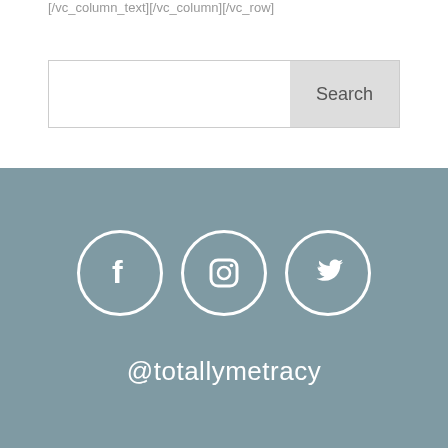[/vc_column_text][/vc_column][/vc_row]
[Figure (other): Search bar with input field and Search button]
[Figure (other): Social media icons: Facebook, Instagram, Twitter in white circles on grey-blue background]
@totallymetracy